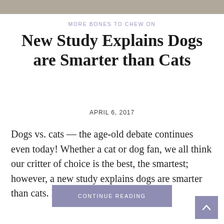[Figure (photo): Partial photo strip at top of page showing animals (cats/dogs), cropped]
MORE BONES TO CHEW ON
New Study Explains Dogs are Smarter than Cats
APRIL 6, 2017
Dogs vs. cats — the age-old debate continues even today! Whether a cat or dog fan, we all think our critter of choice is the best, the smartest; however, a new study explains dogs are smarter than cats. Don't tell...
CONTINUE READING